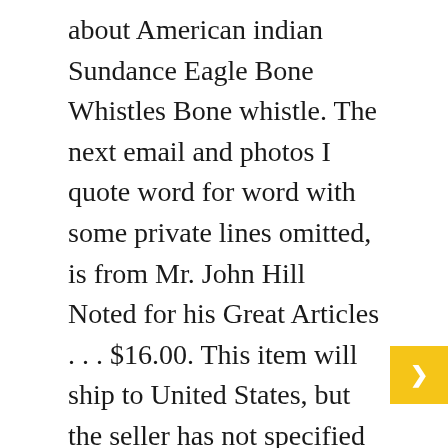about American indian Sundance Eagle Bone Whistles Bone whistle. The next email and photos I quote word for word with some private lines omitted, is from Mr. John Hill Noted for his Great Articles . . . $16.00. This item will ship to United States, but the seller has not specified shipping options. Product Description: Comes Complete ready to go. These simulated fingers can be . . . LOGIN. May 29, 2014 - Eagle Bone Whistle for American Indian religious ceremonies The example video at songbird product page shows the Eagle Bone being played much like a native american flute in pentatonic scale, that being the black keys on a piano. Jun 9, 2017 - This Pin was discovered by mark miller. Oct 18, 2017 - Explore Bear Hamrick's board "Eagle Bone whistle" on Pinterest. The eagle bone whistle is a religious object, used by some members of Native American spiritual societies in sacred ceremonies. From shop